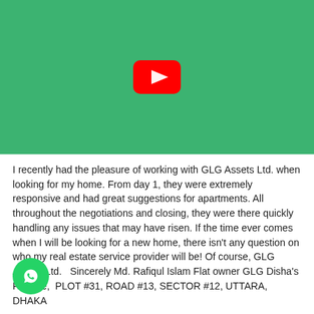[Figure (screenshot): YouTube video thumbnail placeholder with green background and red YouTube play button icon in the center]
I recently had the pleasure of working with GLG Assets Ltd. when looking for my home. From day 1, they were extremely responsive and had great suggestions for apartments. All throughout the negotiations and closing, they were there quickly handling any issues that may have risen. If the time ever comes when I will be looking for a new home, there isn't any question on who my real estate service provider will be! Of course, GLG Assets Ltd.   Sincerely Md. Rafiqul Islam Flat owner GLG Disha's Reverie,  PLOT #31, ROAD #13, SECTOR #12, UTTARA, DHAKA